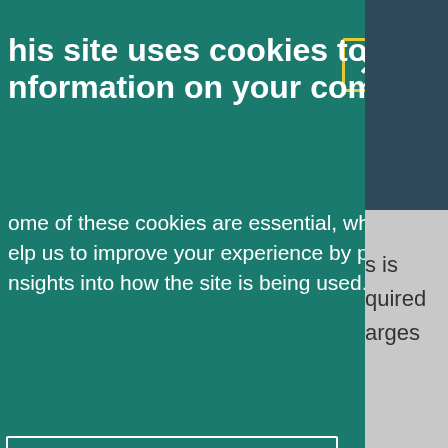ssibility Tools
s is
quired
arges
aised
by the
ng
rrange
under
his site uses cookies to store information on your computer.
ome of these cookies are essential, while others elp us to improve your experience by providing sights into how the site is being used.
I Accept Cookies
I Do Not Accept Cookies
ecessary Cookies
ry cookies enable core functionality such igation and access to secure areas.